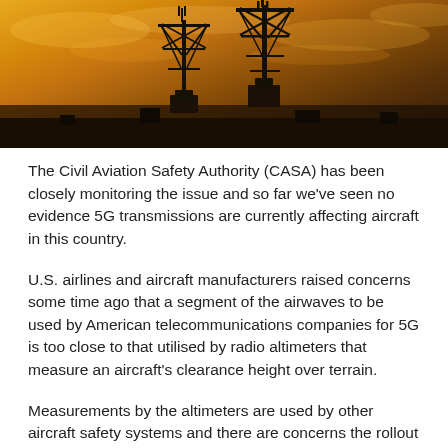[Figure (photo): Silhouette of a telecommunications tower against a golden-orange cloudy sky at sunset]
The Civil Aviation Safety Authority (CASA) has been closely monitoring the issue and so far we've seen no evidence 5G transmissions are currently affecting aircraft in this country.
U.S. airlines and aircraft manufacturers raised concerns some time ago that a segment of the airwaves to be used by American telecommunications companies for 5G is too close to that utilised by radio altimeters that measure an aircraft's clearance height over terrain.
Measurements by the altimeters are used by other aircraft safety systems and there are concerns the rollout of 5G near U.S. airports would affect aircraft